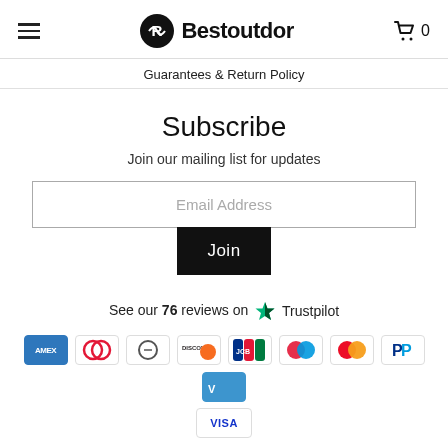Bestoutdor — Guarantees & Return Policy
Subscribe
Join our mailing list for updates
Email Address
Join
See our 76 reviews on Trustpilot
[Figure (logo): Payment icons: AMEX, Diner's, Diners Club, Discover, JCB, Maestro, Mastercard, PayPal, Venmo, Visa]